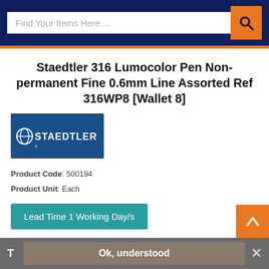Find Your Items Here....
Staedtler 316 Lumocolor Pen Non-permanent Fine 0.6mm Line Assorted Ref 316WP8 [Wallet 8]
[Figure (logo): Staedtler brand logo - white text on dark blue background]
Product Code: 500194
Product Unit: Each
Lead Time 1 Working Day/s
(0 Reviews)  |  Be the first to write a Review
Fine 0.6mm tip
T  Ok, understood  ×